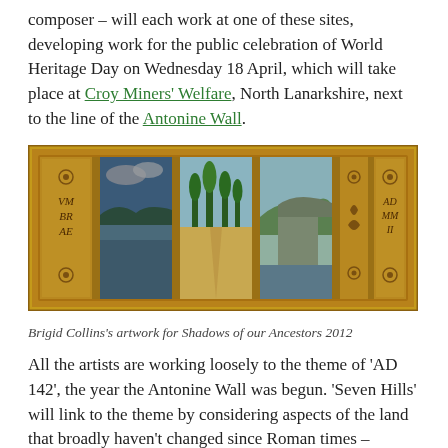composer – will each work at one of these sites, developing work for the public celebration of World Heritage Day on Wednesday 18 April, which will take place at Croy Miners' Welfare, North Lanarkshire, next to the line of the Antonine Wall.
[Figure (photo): Brigid Collins's artwork for Shadows of our Ancestors 2012 — a horizontal panel artwork styled like a Roman relief, featuring painted landscape scenes (water, cypress trees, hills) between decorative stone columns, with Latin text 'VMBRAE' on left panel and 'AD MMII' on right panel, set in a golden/ochre border.]
Brigid Collins's artwork for Shadows of our Ancestors 2012
All the artists are working loosely to the theme of 'AD 142', the year the Antonine Wall was begun. 'Seven Hills' will link to the theme by considering aspects of the land that broadly haven't changed since Roman times – uplands and lowlands, coast and sea, the Scottish weather – as well as referring to the history of the Roman occupation in the area and considering the place...